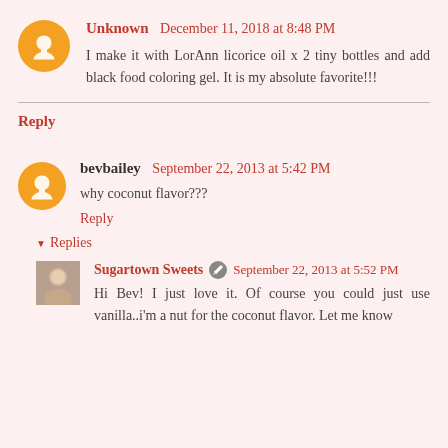Unknown December 11, 2018 at 8:48 PM
I make it with LorAnn licorice oil x 2 tiny bottles and add black food coloring gel. It is my absolute favorite!!!
Reply
bevbailey September 22, 2013 at 5:42 PM
why coconut flavor???
Reply
Replies
Sugartown Sweets September 22, 2013 at 5:52 PM
Hi Bev! I just love it. Of course you could just use vanilla..i'm a nut for the coconut flavor. Let me know